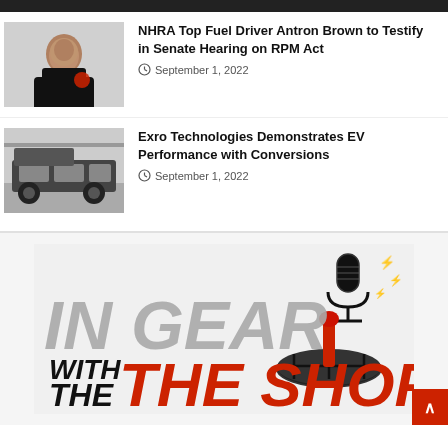[Figure (photo): Dark banner/bar at top of page]
[Figure (photo): Photo of NHRA Top Fuel Driver Antron Brown in black polo shirt]
NHRA Top Fuel Driver Antron Brown to Testify in Senate Hearing on RPM Act
September 1, 2022
[Figure (photo): Photo of military Humvee vehicle in a garage/warehouse setting]
Exro Technologies Demonstrates EV Performance with Conversions
September 1, 2022
[Figure (logo): In Gear with The Shop podcast logo with microphone and gear shift graphics. Large italic gray text IN GEAR, red WITH THE SHOP text below.]